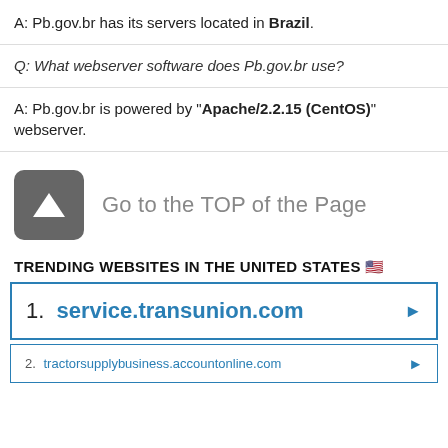A: Pb.gov.br has its servers located in Brazil.
Q: What webserver software does Pb.gov.br use?
A: Pb.gov.br is powered by "Apache/2.2.15 (CentOS)" webserver.
[Figure (other): Gray rounded square icon with white upward arrow (caret) symbol, linking to top of page]
Go to the TOP of the Page
TRENDING WEBSITES IN THE UNITED STATES 🇺🇸
1. service.transunion.com
2. tractorsupplybusiness.accountonline.com